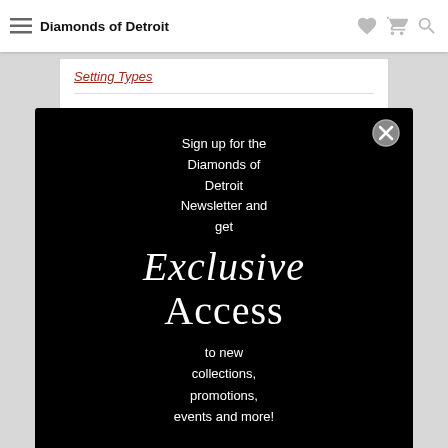Diamonds of Detroit
Setting Types
Sign up for the Diamonds of Detroit Newsletter and get Exclusive Access to new collections, promotions, events and more!